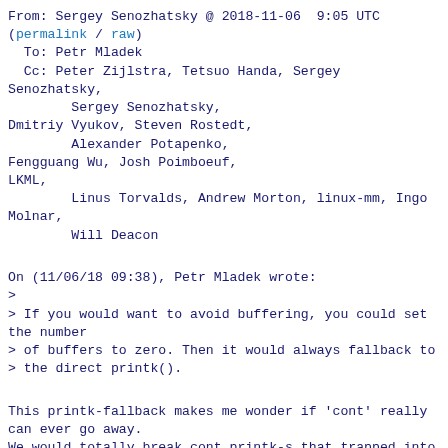From: Sergey Senozhatsky @ 2018-11-06  9:05 UTC (permalink / raw)
  To: Petr Mladek
  Cc: Peter Zijlstra, Tetsuo Handa, Sergey Senozhatsky,
        Sergey Senozhatsky,
Dmitriy Vyukov, Steven Rostedt,
        Alexander Potapenko,
Fengguang Wu, Josh Poimboeuf,
LKML,
        Linus Torvalds, Andrew Morton, linux-mm, Ingo Molnar,
        Will Deacon
On (11/06/18 09:38), Petr Mladek wrote:
>
> If you would want to avoid buffering, you could set the number
> of buffers to zero. Then it would always fallback to
> the direct printk().
This printk-fallback makes me wonder if 'cont' really can ever go away.
We would totally break cont printk-s that trapped into printk-fallback: